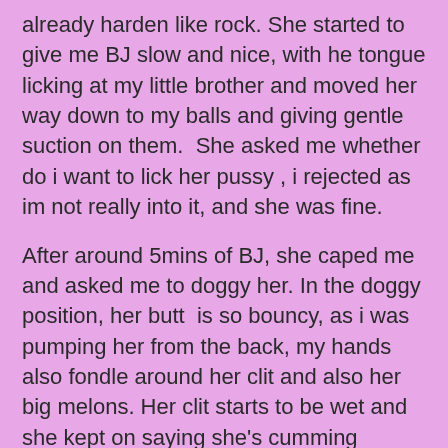already harden like rock. She started to give me BJ slow and nice, with he tongue licking at my little brother and moved her way down to my balls and giving gentle suction on them.  She asked me whether do i want to lick her pussy , i rejected as im not really into it, and she was fine.
After around 5mins of BJ, she caped me and asked me to doggy her. In the doggy position, her butt  is so bouncy, as i was pumping her from the back, my hands also fondle around her clit and also her big melons. Her clit starts to be wet and she kept on saying she's cumming (wasn't quite sure about it ). Subsequently changed into missionary position, continue pumping her hard and unloaded my first shot.
Rested a while , and she continued massaging my legs, and then we chit chat abit, got to know that she has been